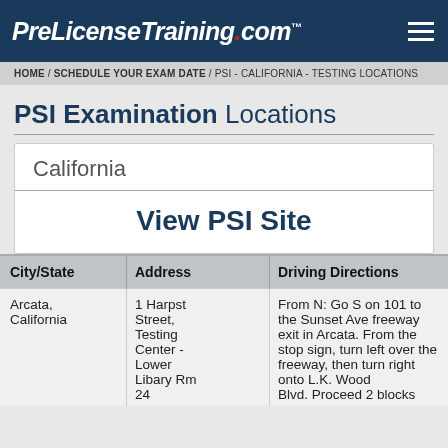PreLicenseTraining.com
HOME / SCHEDULE YOUR EXAM DATE / PSI - CALIFORNIA - TESTING LOCATIONS
PSI Examination Locations
California
View PSI Site
| City/State | Address | Driving Directions |
| --- | --- | --- |
| Arcata, California | 1 Harpst Street, Testing Center - Lower Libary Rm 24 | From N: Go S on 101 to the Sunset Ave freeway exit in Arcata. From the stop sign, turn left over the freeway, then turn right onto L.K. Wood Blvd. Proceed 2 blocks |